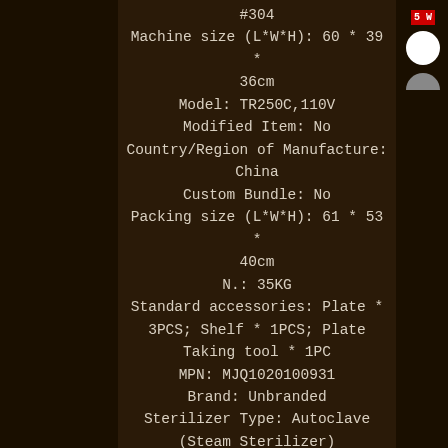[Figure (photo): Dark background product listing image with device photo on left side and a small panel on the right showing a red label reading '5W', a white circle, and partial device elements]
#304
Machine size (L*W*H): 60 * 39 * 36cm
Model: TR250C,110V
Modified Item: No
Country/Region of Manufacture: China
Custom Bundle: No
Packing size (L*W*H): 61 * 53 * 40cm
N.: 35KG
Standard accessories: Plate * 3PCS; Shelf * 1PCS; Plate Taking tool * 1PC
MPN: MJQ1020100931
Brand: Unbranded
Sterilizer Type: Autoclave (Steam Sterilizer)
Intended Use/Discipline: Dental Laboratory
Voltage: 110V 50Hz
Heater Power: 1100W
Tank capacity: 18l